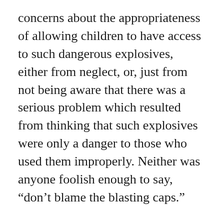concerns about the appropriateness of allowing children to have access to such dangerous explosives, either from neglect, or, just from not being aware that there was a serious problem which resulted from thinking that such explosives were only a danger to those who used them improperly. Neither was anyone foolish enough to say, “don’t blame the blasting caps.”
The truth is that there are many products and types of weapons that are just too dangerous NOT to regulate, such